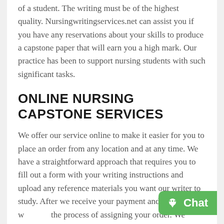of a student. The writing must be of the highest quality. Nursingwritingservices.net can assist you if you have any reservations about your skills to produce a capstone paper that will earn you a high mark. Our practice has been to support nursing students with such significant tasks.
ONLINE NURSING CAPSTONE SERVICES
We offer our service online to make it easier for you to place an order from any location and at any time. We have a straightforward approach that requires you to fill out a form with your writing instructions and upload any reference materials you want our writer to study. After we receive your payment and confirm it, we begin the process of assigning your order. We have a skilled workforce that is conversant with nursing